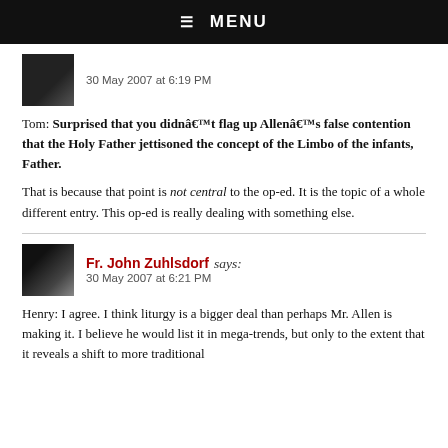☰ MENU
30 May 2007 at 6:19 PM
Tom: Surprised that you didnât flag up Allenâs false contention that the Holy Father jettisoned the concept of the Limbo of the infants, Father.
That is because that point is not central to the op-ed. It is the topic of a whole different entry. This op-ed is really dealing with something else.
Fr. John Zuhlsdorf says:
30 May 2007 at 6:21 PM
Henry: I agree. I think liturgy is a bigger deal than perhaps Mr. Allen is making it. I believe he would list it in mega-trends, but only to the extent that it reveals a shift to more traditional